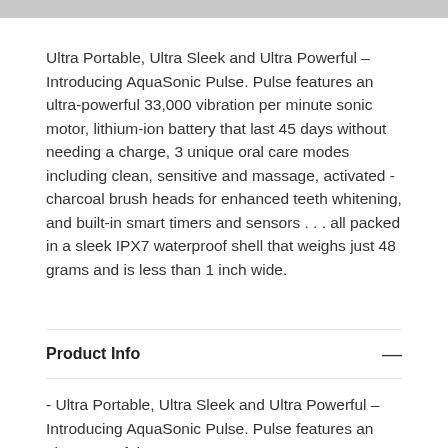Ultra Portable, Ultra Sleek and Ultra Powerful – Introducing AquaSonic Pulse. Pulse features an ultra-powerful 33,000 vibration per minute sonic motor, lithium-ion battery that last 45 days without needing a charge, 3 unique oral care modes including clean, sensitive and massage, activated - charcoal brush heads for enhanced teeth whitening, and built-in smart timers and sensors . . . all packed in a sleek IPX7 waterproof shell that weighs just 48 grams and is less than 1 inch wide.
Product Info
- Ultra Portable, Ultra Sleek and Ultra Powerful – Introducing AquaSonic Pulse. Pulse features an ultra-powerful